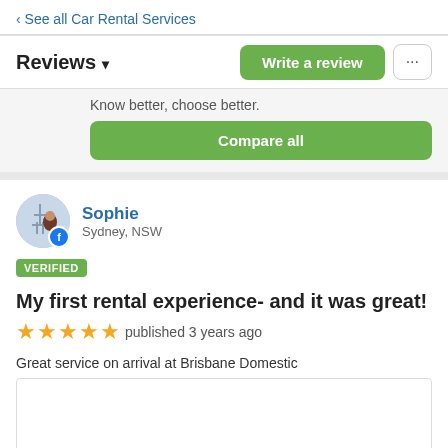‹ See all Car Rental Services
Reviews ▾
Write a review
Know better, choose better.
Compare all
Sophie
Sydney, NSW
VERIFIED
My first rental experience- and it was great!
★★★★★ published 3 years ago
Great service on arrival at Brisbane Domestic
were already present and told  not to worry . The